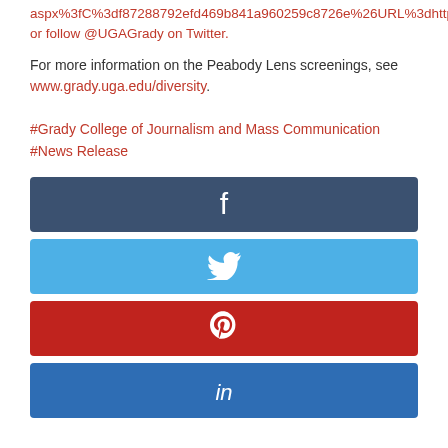aspx%3fC%3df87288792efd469b841a960259c8726e%26URL%3dhttp%253a%252f%252fwww.grady.uga.edu%252f or follow @UGAGrady on Twitter.
For more information on the Peabody Lens screenings, see www.grady.uga.edu/diversity.
#Grady College of Journalism and Mass Communication
#News Release
[Figure (other): Facebook share button (dark blue with white 'f' icon)]
[Figure (other): Twitter share button (light blue with white bird icon)]
[Figure (other): Pinterest share button (red with white 'P' icon)]
[Figure (other): LinkedIn share button (blue with white 'in' icon)]